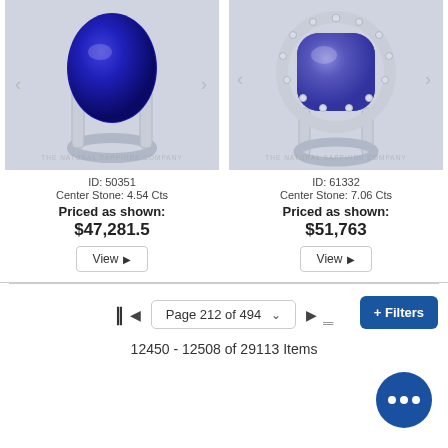[Figure (photo): Blue sapphire oval solitaire ring in white gold setting, product ID 50351, The Natural Sapphire Company]
ID: 50351
Center Stone: 4.54 Cts
Priced as shown:
$47,281.5
[Figure (photo): Blue sapphire cushion cut ring with diamond halo in white gold, product ID 61332, The Natural Sapphire Company]
ID: 61332
Center Stone: 7.06 Cts
Priced as shown:
$51,763
Page 212 of 494
12450 - 12508 of 29113 Items